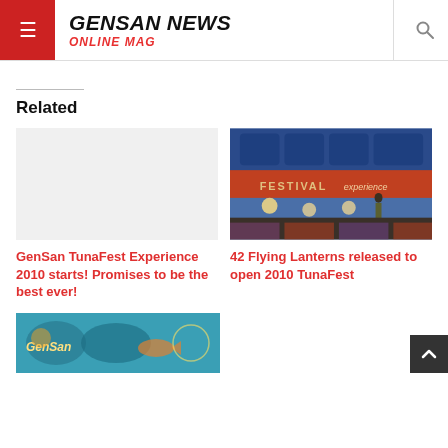GENSAN NEWS ONLINE MAG
Related
GenSan TunaFest Experience 2010 starts! Promises to be the best ever!
[Figure (photo): Photo of a performer on stage in front of a TunaFest banner with colorful lights]
42 Flying Lanterns released to open 2010 TunaFest
[Figure (photo): Colorful illustrated banner image at bottom of page]